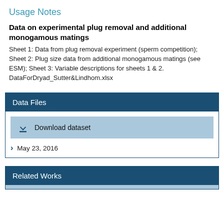Usage Notes
Data on experimental plug removal and additional monogamous matings
Sheet 1: Data from plug removal experiment (sperm competition); Sheet 2: Plug size data from additional monogamous matings (see ESM); Sheet 3: Variable descriptions for sheets 1 & 2.
DataForDryad_Sutter&Lindhom.xlsx
Data Files
Download dataset
May 23, 2016
Related Works